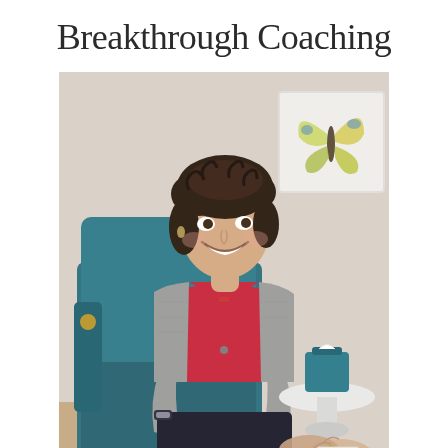Breakthrough Coaching
[Figure (photo): A woman with curly dark hair, wearing a gray blazer over a red top, sits smiling in a teal armchair. A framed butterfly artwork hangs on the wall behind her. In the foreground, a small white round table holds a teal tissue box, and another person's hands are partially visible.]